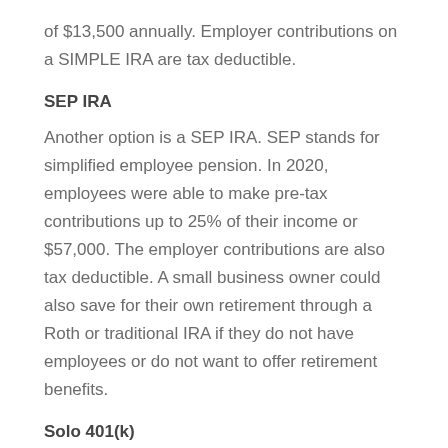of $13,500 annually. Employer contributions on a SIMPLE IRA are tax deductible.
SEP IRA
Another option is a SEP IRA. SEP stands for simplified employee pension. In 2020, employees were able to make pre-tax contributions up to 25% of their income or $57,000. The employer contributions are also tax deductible. A small business owner could also save for their own retirement through a Roth or traditional IRA if they do not have employees or do not want to offer retirement benefits.
Solo 401(k)
As a self-employed small business owner, you